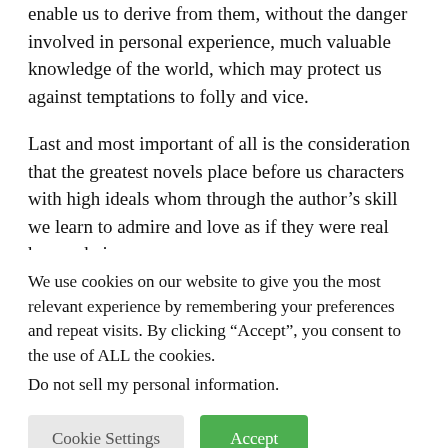enable us to derive from them, without the danger involved in personal experience, much valuable knowledge of the world, which may protect us against temptations to folly and vice.
Last and most important of all is the consideration that the greatest novels place before us characters with high ideals whom through the author’s skill we learn to admire and love as if they were real human beings.
Thus they are often far more efficacious in inspiring high thoughts and noble resolves than the most eloquent preacher, the wisest moral philosopher, or the most persuasive didactic poet.
We use cookies on our website to give you the most relevant experience by remembering your preferences and repeat visits. By clicking “Accept”, you consent to the use of ALL the cookies. Do not sell my personal information.